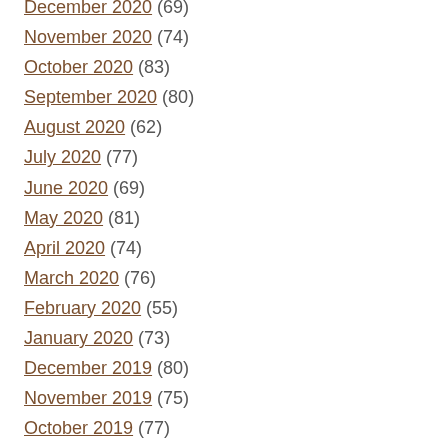December 2020 (69)
November 2020 (74)
October 2020 (83)
September 2020 (80)
August 2020 (62)
July 2020 (77)
June 2020 (69)
May 2020 (81)
April 2020 (74)
March 2020 (76)
February 2020 (55)
January 2020 (73)
December 2019 (80)
November 2019 (75)
October 2019 (77)
September 2019 (66)
August 2019 (54)
July 2019 (61)
June 2019 (65)